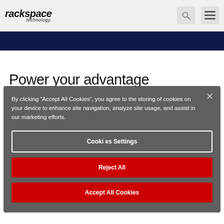rackspace technology.
Power your advantage
By clicking “Accept All Cookies”, you agree to the storing of cookies on your device to enhance site navigation, analyze site usage, and assist in our marketing efforts.
Cookies Settings
Reject All
Accept All Cookies